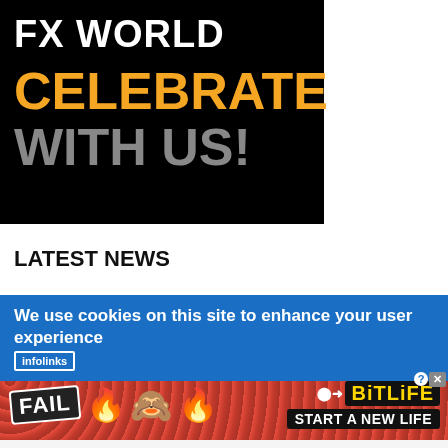[Figure (illustration): FX World promotional banner on black background with orange text 'CELEBRATE' and grey text 'WITH US!']
LATEST NEWS
We use cookies on this site to enhance your user experience
[Figure (illustration): BitLife advertisement banner with FAIL text, cartoon character, flames, and 'START A NEW LIFE' call to action on red dotted background]